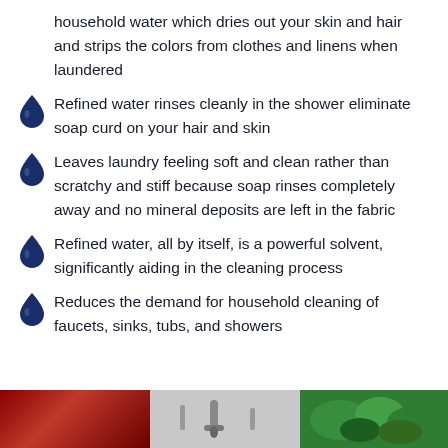household water which dries out your skin and hair and strips the colors from clothes and linens when laundered
Refined water rinses cleanly in the shower eliminate soap curd on your hair and skin
Leaves laundry feeling soft and clean rather than scratchy and stiff because soap rinses completely away and no mineral deposits are left in the fabric
Refined water, all by itself, is a powerful solvent, significantly aiding in the cleaning process
Reduces the demand for household cleaning of faucets, sinks, tubs, and showers
[Figure (photo): Three images side by side: a dark red/maroon image on the left, a metal faucet/tap image in the middle, and green vegetables/produce on the right.]